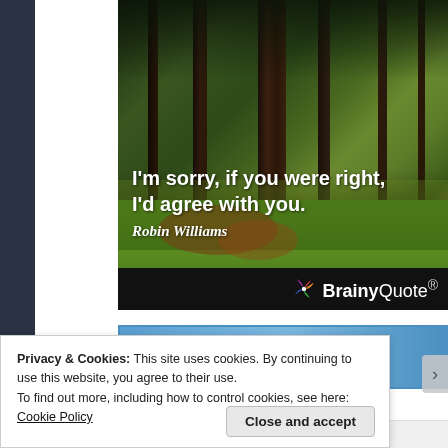[Figure (photo): Forest scene with sunlight filtering through tall pine trees and green moss-covered ground, overlaid with a Robin Williams quote]
I'm sorry, if you were right, I'd agree with you.
Robin Williams
BrainyQuote®
Privacy & Cookies: This site uses cookies. By continuing to use this website, you agree to their use.
To find out more, including how to control cookies, see here: Cookie Policy
Close and accept